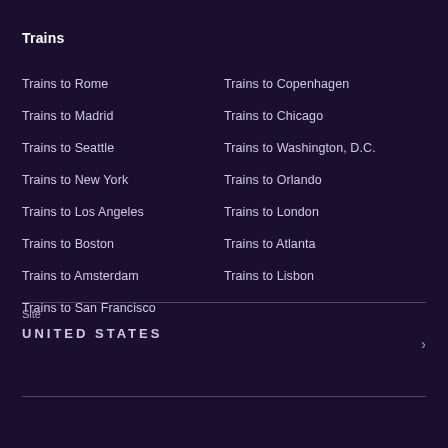Trains
Trains to Rome
Trains to Madrid
Trains to Seattle
Trains to New York
Trains to Los Angeles
Trains to Boston
Trains to Amsterdam
Trains to San Francisco
Trains to Copenhagen
Trains to Chicago
Trains to Washington, D.C.
Trains to Orlando
Trains to London
Trains to Atlanta
Trains to Lisbon
Site
UNITED STATES